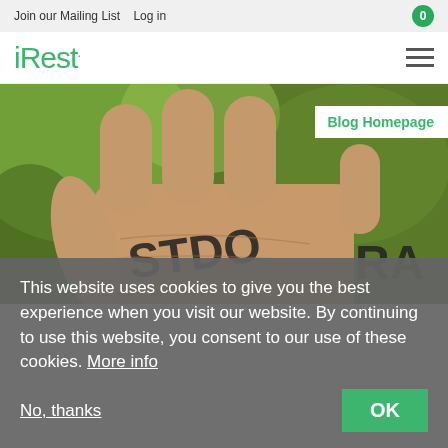Join our Mailing List   Log in   0
iRest.
[Figure (photo): Close-up photo of an open hand palm with the words 'STOP RACISM' written in black marker, against a green leafy background. A 'Blog Homepage' label overlays the top-right corner.]
Blog Homepage
This website uses cookies to give you the best experience when you visit our website. By continuing to use this website, you consent to our use of these cookies. More info
No, thanks
OK